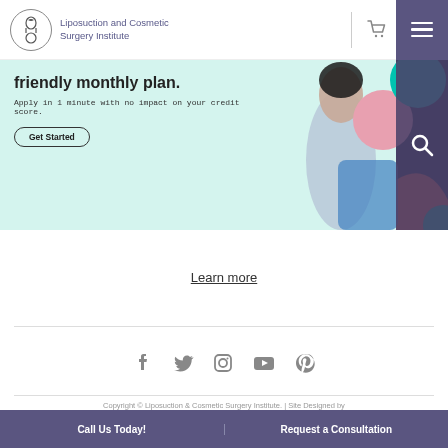Liposuction and Cosmetic Surgery Institute
[Figure (illustration): Promotional banner with teal background, text 'friendly monthly plan.', subtitle 'Apply in 1 minute with no impact on your credit score.', Get Started button, woman in blue top, colorful abstract shapes]
Learn more
[Figure (illustration): Social media icons: Facebook, Twitter, Instagram, YouTube, Pinterest]
Copyright © Liposuction & Cosmetic Surgery Institute. | Site Designed by FMSC
Call Us Today! | Request a Consultation